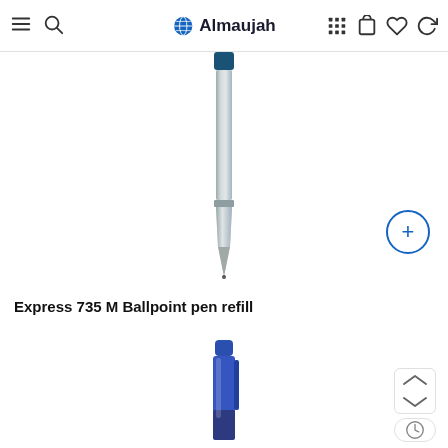Almaujah — navigation header with hamburger, search, logo, grid, cart, wishlist, account icons
[Figure (photo): A silver ballpoint pen refill (Express 735 M) shown vertically, with a dark blue cap at top and a pointed metal tip at bottom, on white background]
Express 735 M Ballpoint pen refill
[Figure (photo): Top portion of a blue ballpoint pen with blue plastic body and clip, shown vertically on white background]